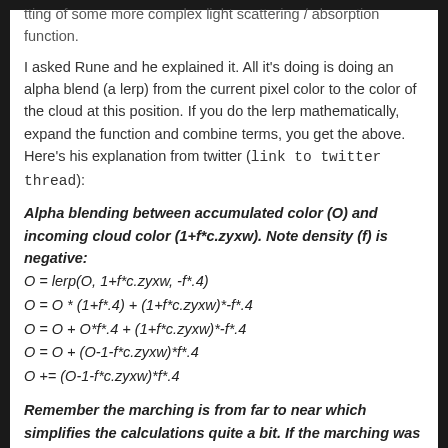tting of some more complex light scattering / absorption function.
I asked Rune and he explained it. All it's doing is doing an alpha blend (a lerp) from the current pixel color to the color of the cloud at this position. If you do the lerp mathematically, expand the function and combine terms, you get the above. Here’s his explanation from twitter (link to twitter thread):
Alpha blending between accumulated color (O) and incoming cloud color (1+f*c.zyxw). Note density (f) is negative:
O = lerp(O, 1+f*c.zyxw, -f*.4)
O = O * (1+f*.4) + (1+f*c.zyxw)*-f*.4
O = O + O*f*.4 + (1+f*c.zyxw)*-f*.4
O = O + (O-1-f*c.zyxw)*f*.4
O += (O-1-f*c.zyxw)*f*.4
Remember the marching is from far to near which simplifies the calculations quite a bit. If the marching was reversed then you would also need to keep track of an accumulated density.
One obvious question then would be: why is “1+f*c.zyxw” the